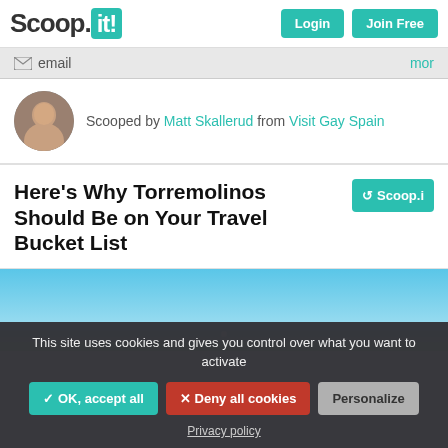Scoop.it! | Login | Join Free
email | mor
Scooped by Matt Skallerud from Visit Gay Spain
Here's Why Torremolinos Should Be on Your Travel Bucket List
[Figure (photo): Outdoor photo showing blue sky and landscape, partially visible]
This site uses cookies and gives you control over what you want to activate
✓ OK, accept all | ✕ Deny all cookies | Personalize
Privacy policy